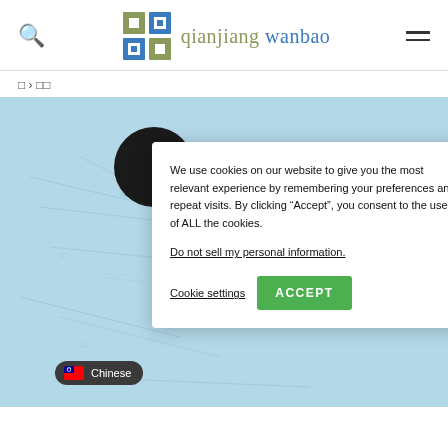qianjiang wanbao
□ › □□
[Figure (photo): Photo of a person (child/student) in front of a blue map background, partially obscured by a cookie consent dialog. A language badge showing Chinese (Taiwan flag) is visible at the bottom left.]
We use cookies on our website to give you the most relevant experience by remembering your preferences and repeat visits. By clicking “Accept”, you consent to the use of ALL the cookies.
Do not sell my personal information.
Cookie settings
ACCEPT
Chinese